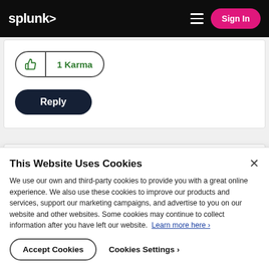splunk> | Sign In
[Figure (other): Thumbs up icon with 1 Karma pill button]
Reply
[Figure (other): Collapsed content card with chevron down icon]
This Website Uses Cookies
We use our own and third-party cookies to provide you with a great online experience. We also use these cookies to improve our products and services, support our marketing campaigns, and advertise to you on our website and other websites. Some cookies may continue to collect information after you have left our website. Learn more here ›
Accept Cookies | Cookies Settings ›